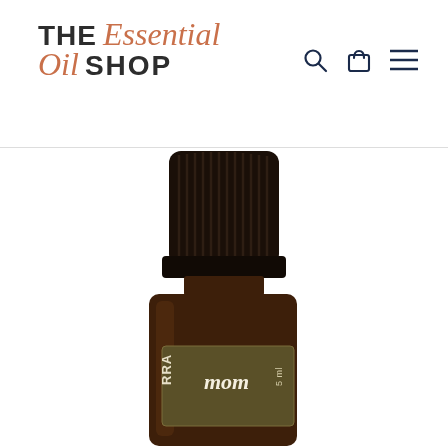THE Essential Oil SHOP
[Figure (photo): doTERRA cinnamon essential oil 5ml amber glass bottle with black ribbed cap, label partially visible showing 'RRA' and 'mom' (cinnamon) and '5 ml']